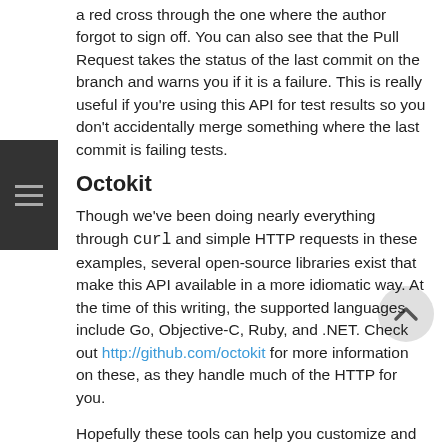a red cross through the one where the author forgot to sign off. You can also see that the Pull Request takes the status of the last commit on the branch and warns you if it is a failure. This is really useful if you're using this API for test results so you don't accidentally merge something where the last commit is failing tests.
Octokit
Though we've been doing nearly everything through curl and simple HTTP requests in these examples, several open-source libraries exist that make this API available in a more idiomatic way. At the time of this writing, the supported languages include Go, Objective-C, Ruby, and .NET. Check out http://github.com/octokit for more information on these, as they handle much of the HTTP for you.
Hopefully these tools can help you customize and modify GitHub to work better for your specific workflows. For complete documentation on the entire API as well as guides for common tasks, check out https://developer.github.com.
prev | next